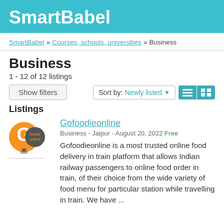SmartBabel
SmartBabel » Courses, schools, universities » Business
Business
1 - 12 of 12 listings
Listings
Gofoodieonline
Business - Jaipur - August 20, 2022 Free
Gofoodieonline is a most trusted online food delivery in train platform that allows Indian railway passengers to online food order in train, of their choice from the wide variety of food menu for particular station while travelling in train. We have ...